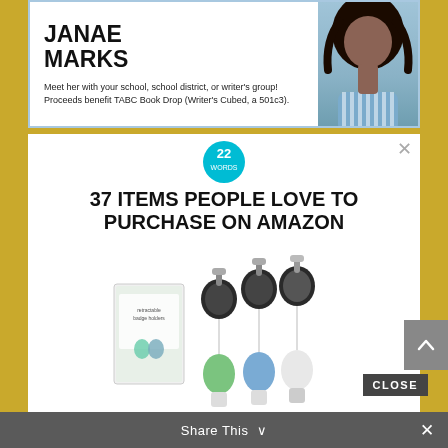[Figure (photo): Top banner advertisement for author Janae Marks with photo of a woman with curly hair in a blue striped shirt against a green background. Text reads 'JANAE MARKS' and 'Meet her with your school, school district, or writer's group! Proceeds benefit TABC Book Drop (Writer's Cubed, a 501c3).']
[Figure (photo): Advertisement with '22 WORDS' badge circle logo, bold headline '37 ITEMS PEOPLE LOVE TO PURCHASE ON AMAZON', and product image showing retractable badge holders with silicone travel bottles in green, blue, and clear colors, with a product box.]
The holders are made from anodized aluminum blocks and are available in 7 different colors.
CLOSE
Share This ∨  ×